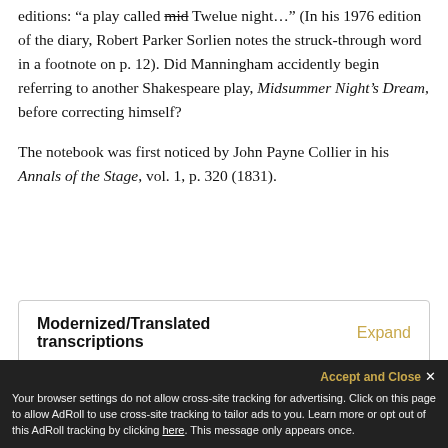editions: “a play called mid Twelue night…” (In his 1976 edition of the diary, Robert Parker Sorlien notes the struck-through word in a footnote on p. 12). Did Manningham accidently begin referring to another Shakespeare play, Midsummer Night’s Dream, before correcting himself?
The notebook was first noticed by John Payne Collier in his Annals of the Stage, vol. 1, p. 320 (1831).
| Modernized/Translated transcriptions | Expand |
Your browser settings do not allow cross-site tracking for advertising. Click on this page to allow AdRoll to use cross-site tracking to tailor ads to you. Learn more or opt out of this AdRoll tracking by clicking here. This message only appears once.